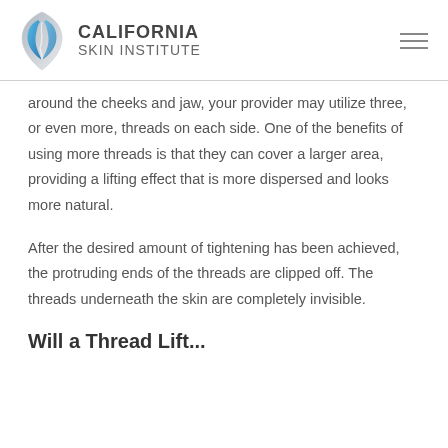California Skin Institute
around the cheeks and jaw, your provider may utilize three, or even more, threads on each side. One of the benefits of using more threads is that they can cover a larger area, providing a lifting effect that is more dispersed and looks more natural.
After the desired amount of tightening has been achieved, the protruding ends of the threads are clipped off. The threads underneath the skin are completely invisible.
Will a Thread Lift...